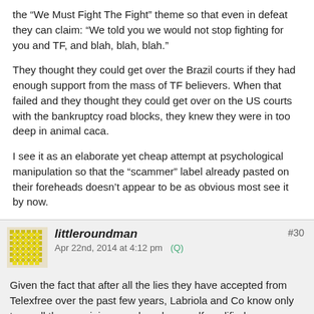the “We Must Fight The Fight” theme so that even in defeat they can claim: “We told you we would not stop fighting for you and TF, and blah, blah, blah.”
They thought they could get over the Brazil courts if they had enough support from the mass of TF believers. When that failed and they thought they could get over on the US courts with the bankruptcy road blocks, they knew they were in too deep in animal caca.
I see it as an elaborate yet cheap attempt at psychological manipulation so that the “scammer” label already pasted on their foreheads doesn’t appear to be as obvious most see it by now.
littleroundman
Apr 22nd, 2014 at 4:12 pm  (Q)
#30
Given the fact that after all the lies they have accepted from Telexfree over the past few years, Labriola and Co know only too well the remaining members have self qualified themselves to accept almost anything their heroes throw at them.